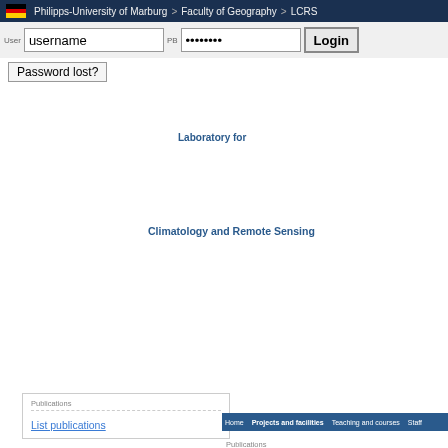Philipps-University of Marburg > Faculty of Geography > LCRS
[Figure (screenshot): University website screenshot showing login interface with username/password fields and Login button, Laboratory for Climatology and Remote Sensing branding, navigation menu, and publication search interface with keyword search for 'Partial least-square regr...']
Laboratory for
Climatology and Remote Sensing
Publications
List publications
Quick search
Publications:
keyword:"Partial
Datasets:
Keywords:
Datasets: / Publications: Andes AVHRR Biodiversity biomass Ecuador El Nino fog Fog detection low stratus Meteosat Meteosat Second Generation MODIS NOAA-AVHRR Peru Random forests remote sensing SEVIRI South Ecuador southern Ecuador stefan Hinton...
Publications
keyword:"Partial least-square regr
Publication type: Any — sort by:
Ins.-date desc
Search  Show all
Found 1 publication(s)
1